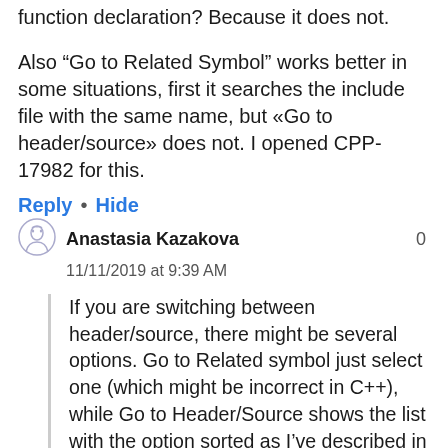function declaration? Because it does not.

Also “Go to Related Symbol” works better in some situations, first it searches the include file with the same name, but «Go to header/source» does not. I opened CPP-17982 for this.
Reply • Hide
Anastasia Kazakova
11/11/2019 at 9:39 AM
If you are switching between header/source, there might be several options. Go to Related symbol just select one (which might be incorrect in C++), while Go to Header/Source shows the list with the option sorted as I’ve described in the blog post. This is the major difference I guess.
We’ll follow-up on the particular problem in